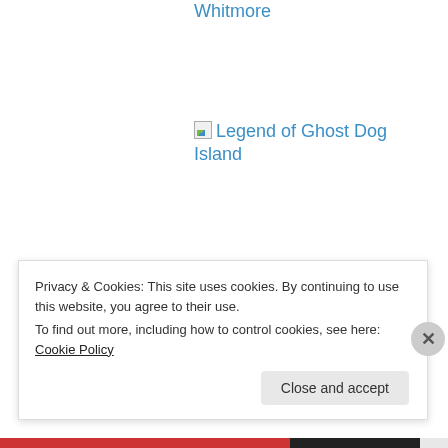Whitmore
[Figure (other): Broken image icon followed by link text: Legend of Ghost Dog Island]
[Figure (other): Broken image icon followed by link text: KT CS cover 2014]
Privacy & Cookies: This site uses cookies. By continuing to use this website, you agree to their use. To find out more, including how to control cookies, see here: Cookie Policy